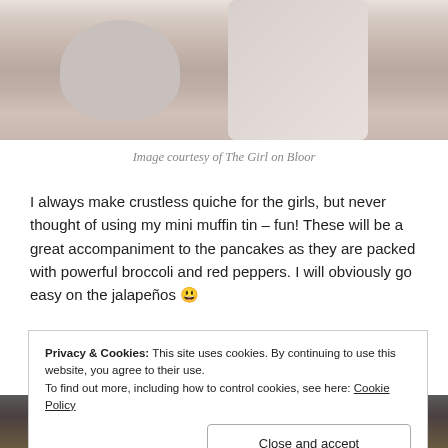[Figure (photo): Partial photo of a cat and fabric/textile items on a wooden surface, cropped at top of page]
Image courtesy of The Girl on Bloor
I always make crustless quiche for the girls, but never thought of using my mini muffin tin – fun! These will be a great accompaniment to the pancakes as they are packed with powerful broccoli and red peppers. I will obviously go easy on the jalapeños 😉
[Figure (photo): Photo of a mini muffin tin with egg/quiche bites, partially visible at bottom of page]
Privacy & Cookies: This site uses cookies. By continuing to use this website, you agree to their use.
To find out more, including how to control cookies, see here: Cookie Policy
Close and accept